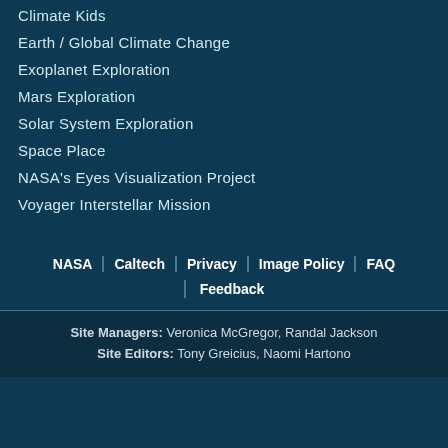Climate Kids
Earth / Global Climate Change
Exoplanet Exploration
Mars Exploration
Solar System Exploration
Space Place
NASA's Eyes Visualization Project
Voyager Interstellar Mission
NASA | Caltech | Privacy | Image Policy | FAQ | Feedback
Site Managers: Veronica McGregor, Randal Jackson
Site Editors: Tony Greicius, Naomi Hartono